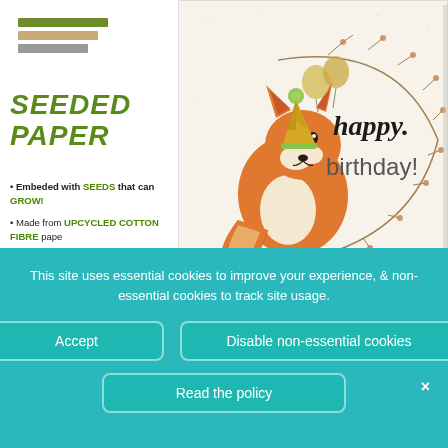[Figure (logo): Three horizontal stripes in green, tan, and gray forming a brand logo]
SEEDED PAPER
Embeded with SEEDS that can GROW!
Made from UPCYCLED COTTON FIBRE pape
A PERFECT gift even on it's own
100% TREE-FREE
[Figure (illustration): A happy birthday greeting card with a watercolor fox wearing a party hat, surrounded by botanical wreath with text 'happy birthday!']
This site uses essential cookies to improve your experience, & non-essential cookies to track site usage.
Accept
Disable non-essential cookies
Read the policy